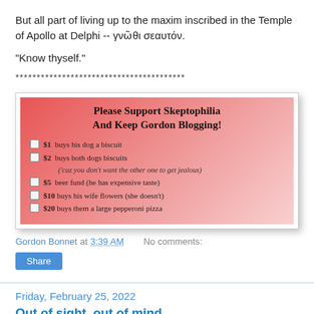But all part of living up to the maxim inscribed in the Temple of Apollo at Delphi -- γνῶθι σεαυτόν.
"Know thyself."
****************************************
[Figure (infographic): Donation prompt box with pink/red gradient background. Title: 'Please Support Skeptophilia and keep Gordon blogging!' with checkboxes listing: $1 buys his dog a biscuit, $2 buys both dogs biscuits ('cuz you don't want the other one to get jealous), $5 beer fund (he has expensive taste), $10 buys his wife flowers (she doesn't), $20 buys them a large pepperoni pizza]
Gordon Bonnet at 3:39 AM   No comments:
Share
Friday, February 25, 2022
Out of sight, out of mind